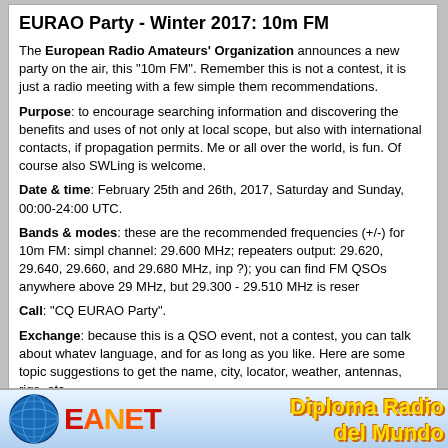EURAO Party - Winter 2017: 10m FM
The European Radio Amateurs' Organization announces a new party on the air, this "10m FM". Remember this is not a contest, it is just a radio meeting with a few simple them recommendations.
Purpose: to encourage searching information and discovering the benefits and uses of not only at local scope, but also with international contacts, if propagation permits. Me or all over the world, is fun. Of course also SWLing is welcome.
Date & time: February 25th and 26th, 2017, Saturday and Sunday, 00:00-24:00 UTC.
Bands & modes: these are the recommended frequencies (+/-) for 10m FM: simple channel: 29.600 MHz; repeaters output: 29.620, 29.640, 29.660, and 29.680 MHz, inp ?); you can find FM QSOs anywhere above 29 MHz, but 29.300 - 29.510 MHz is reser
Call: "CQ EURAO Party".
Exchange: because this is a QSO event, not a contest, you can talk about whatev language, and for as long as you like. Here are some topic suggestions to get the name, city, locator, weather, antennas, rigs, etc.
Also talk about QSL interchange. Tell the truth. Say "no, thanks" if you are not interest if you would like to have a memory of your contact, feel free to use our EuroBureauQS
Logs: for statistic purposes only, we ask participants to submit their logs to party format, where the filename should be your callsign (e.g. EA3RKF.ADI).
There will be no results or league tables, only statistical information about number callsigns, OMs/YLs/Clubs, etc.
Certificate of Participation: for those sending the log and with a minimum of 10% QS
EuroBureauQSL: you can use it to interchange QSLs even if you are not member. In the QSL to the entry point in the country of the station you have contacted.
[Figure (logo): EANET logo with globe and text 'Diploma Radio del Mundo' in yellow on blue/white background]